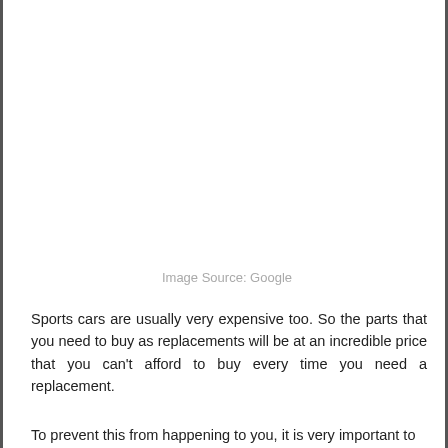Image Source: Google
Sports cars are usually very expensive too. So the parts that you need to buy as replacements will be at an incredible price that you can't afford to buy every time you need a replacement.
To prevent this from happening to you, it is very important to